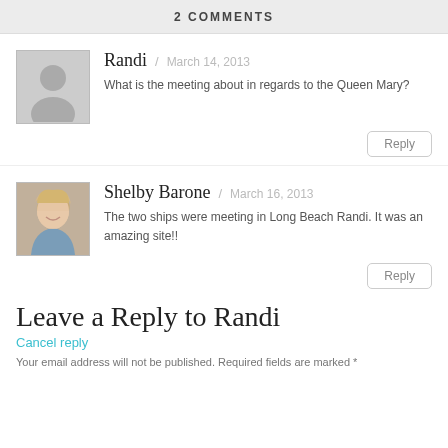2 COMMENTS
[Figure (illustration): Default grey avatar placeholder with silhouette]
Randi / March 14, 2013
What is the meeting about in regards to the Queen Mary?
Reply
[Figure (photo): Photo of Shelby Barone, a blonde woman smiling]
Shelby Barone / March 16, 2013
The two ships were meeting in Long Beach Randi. It was an amazing site!!
Reply
Leave a Reply to Randi
Cancel reply
Your email address will not be published. Required fields are marked *